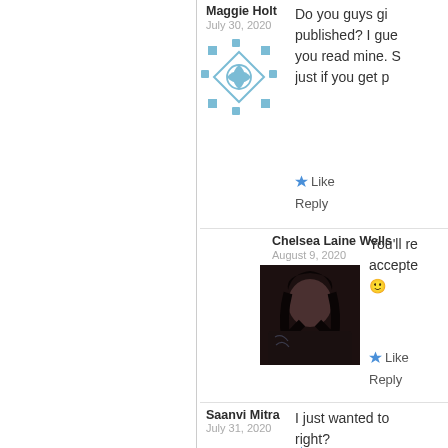Maggie Holt
July 30, 2020
[Figure (illustration): Blue geometric pattern avatar for Maggie Holt]
Do you guys gi published? I gue you read mine. S just if you get p
Like
Reply
Chelsea Laine Wells
August 9, 2020
[Figure (photo): Profile photo of Chelsea Laine Wells, person with dark hair]
You'll re accepte 🙂
Like
Reply
Saanvi Mitra
July 31, 2020
[Figure (illustration): Purple/grey geometric pattern avatar for Saanvi Mitra]
I just wanted to right?
Like
Reply